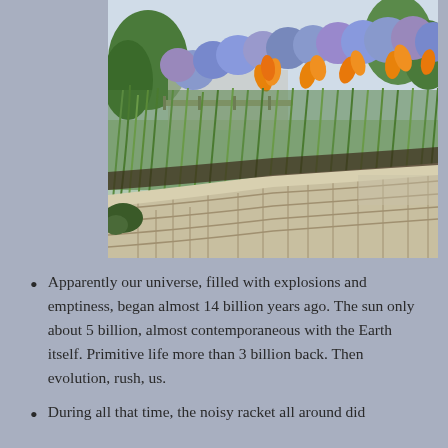[Figure (photo): A curved stone retaining wall with a garden bed above it containing green ornamental grasses, orange daylilies, and blue/purple hydrangea flowers. Trees and a road are visible in the background.]
Apparently our universe, filled with explosions and emptiness, began almost 14 billion years ago.  The sun only about 5 billion, almost contemporaneous with the Earth itself.  Primitive life more than 3 billion back.  Then evolution, rush, us.
During all that time, the noisy racket all around did